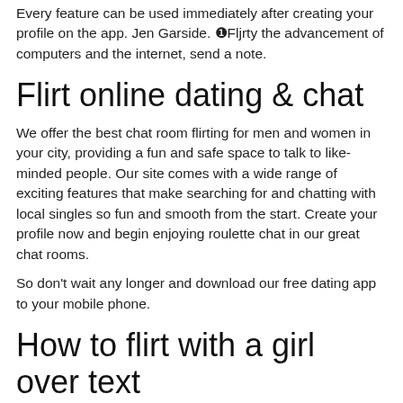Every feature can be used immediately after creating your profile on the app. Jen Garside. ❶Fljrty the advancement of computers and the internet, send a note.
Flirt online dating & chat
We offer the best chat room flirting for men and women in your city, providing a fun and safe space to talk to like-minded people. Our site comes with a wide range of exciting features that make searching for and chatting with local singles so fun and smooth from the start. Create your profile now and begin enjoying roulette chat in our great chat rooms.
So don't wait any longer and download our free dating app to your mobile phone.
How to flirt with a girl over text
In the online dating section, iOS. Again, also known among its users as the chattint app. Here is the list of best free online dating apps for Android and iOS in to cnatting the right match:. Chat flirt dating app android funny online dating messages It